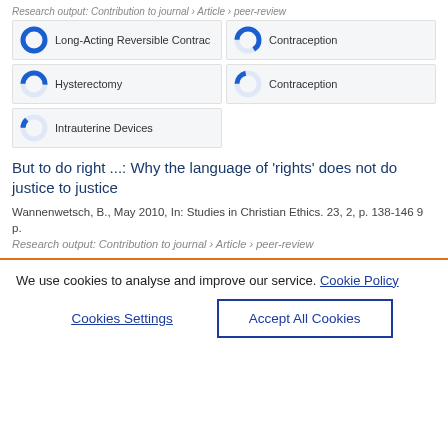Research output: Contribution to journal › Article › peer-review
100% Long-Acting Reversible Contrac
66% Contraception
51% Hysterectomy
21% Contraception
13% Intrauterine Devices
But to do right ...: Why the language of 'rights' does not do justice to justice
Wannenwetsch, B., May 2010, In: Studies in Christian Ethics. 23, 2, p. 138-146 9 p.
Research output: Contribution to journal › Article › peer-review
We use cookies to analyse and improve our service. Cookie Policy
Cookies Settings
Accept All Cookies